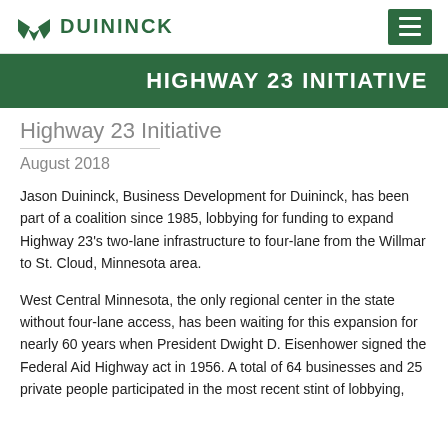Duininck
HIGHWAY 23 INITIATIVE
Highway 23 Initiative
August 2018
Jason Duininck, Business Development for Duininck, has been part of a coalition since 1985, lobbying for funding to expand Highway 23's two-lane infrastructure to four-lane from the Willmar to St. Cloud, Minnesota area.
West Central Minnesota, the only regional center in the state without four-lane access, has been waiting for this expansion for nearly 60 years when President Dwight D. Eisenhower signed the Federal Aid Highway act in 1956. A total of 64 businesses and 25 private people participated in the most recent stint of lobbying,